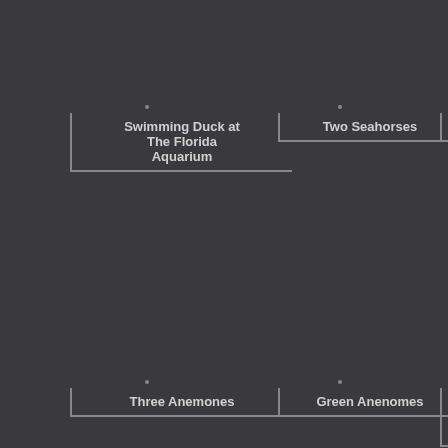[Figure (other): Grid layout showing image caption labels with dark background. Labels visible: 'Swimming Duck at The Florida Aquarium', 'Two Seahorses', 'Fou[r...] (truncated)', 'Three Anemones', 'Green Anenomes', 'Quaran[tined at] the[ Florida] Ac[quarium] (truncated)']
Swimming Duck at The Florida Aquarium
Two Seahorses
Three Anemones
Green Anenomes